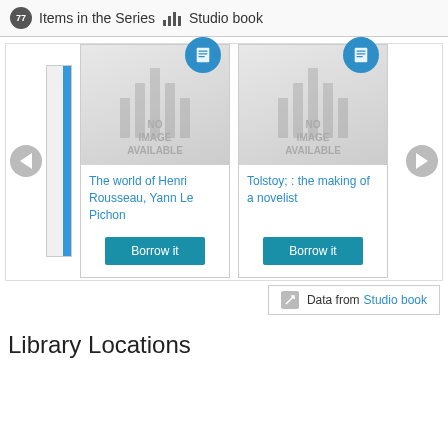77 Items in the Series  Studio book
[Figure (screenshot): Carousel of book items in a series. Shows two book cards with 'NO IMAGE AVAILABLE' placeholders, blue book-type badges, titles 'The world of Henri Rousseau, Yann Le Pichon' and 'Tolstoy; : the making of a novelist', and 'Borrow it' buttons. Left and right navigation arrows visible.]
Data from Studio book
Library Locations